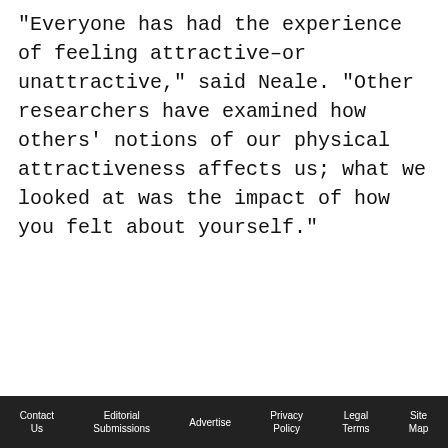"Everyone has had the experience of feeling attractive–or unattractive," said Neale. "Other researchers have examined how others' notions of our physical attractiveness affects us; what we looked at was the impact of how you felt about yourself."
[Figure (infographic): Advertisement banner with text 'YOUR BRAND. OUR EXPERTISE.' in bold dark purple on yellow highlight, with white cosmetic tube/stick products on the right side. A close button (×) appears in the top right of the ad area.]
Contact Us   Editorial Submissions   Advertise   Privacy Policy   Legal Terms   Site Map